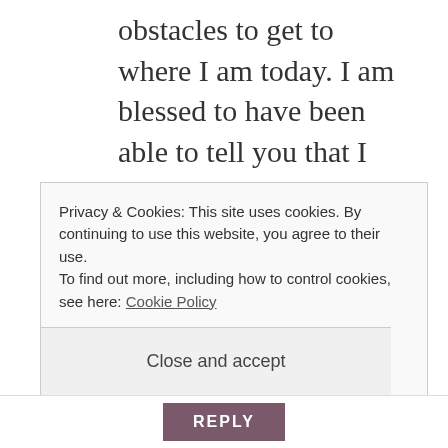obstacles to get to where I am today. I am blessed to have been able to tell you that I OWE IT ALL TO YOU. God bless you & RIP, Mr. Cub. Your legacy will never be forgotten. For video coverage go to: http://wgntv.com/2015/01/24/the-legacy-of-ernie-banks-mr-cub/ where WGN-TV of Chicago has posted some lovely tributes. If this is your first time visiting my blog, thank
Privacy & Cookies: This site uses cookies. By continuing to use this website, you agree to their use. To find out more, including how to control cookies, see here: Cookie Policy
Close and accept
REPLY